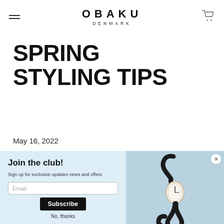OBAKU DENMARK — navigation header with hamburger menu and cart icon
SPRING STYLING TIPS
May 16, 2022
[Figure (screenshot): Email signup popup with light blue background. Contains 'Join the club!' heading, subtitle 'Sign up for exclusive updates news and offers', email input field, Subscribe button, and 'No, thanks' link. Right side shows a product image of a watch with a black strap on a light blue background, with a close (×) button in top right corner.]